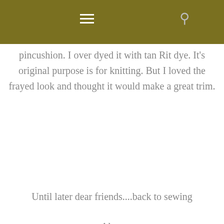pincushion. I over dyed it with tan Rit dye. It's original purpose is for knitting. But I loved the frayed look and thought it would make a great trim.
Until later dear friends....back to sewing
Alma
SHARE THIS STORY
SHARE ON FACEBOOK